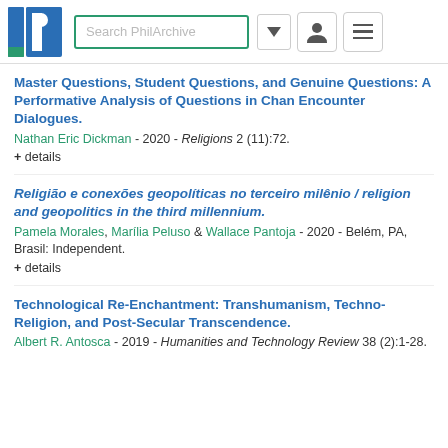[Figure (screenshot): PhilArchive website header with logo (blue P with green accent), search box labeled 'Search PhilArchive', a dropdown arrow button, a user icon button, and a hamburger menu button.]
Master Questions, Student Questions, and Genuine Questions: A Performative Analysis of Questions in Chan Encounter Dialogues.
Nathan Eric Dickman - 2020 - Religions 2 (11):72.
+ details
Religião e conexões geopolíticas no terceiro milênio / religion and geopolitics in the third millennium.
Pamela Morales, Marília Peluso & Wallace Pantoja - 2020 - Belém, PA, Brasil: Independent.
+ details
Technological Re-Enchantment: Transhumanism, Techno-Religion, and Post-Secular Transcendence.
Albert R. Antosca - 2019 - Humanities and Technology Review 38 (2):1-28.